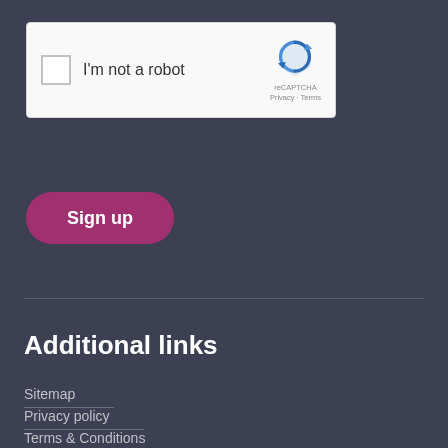[Figure (other): reCAPTCHA widget with checkbox labeled 'I'm not a robot', reCAPTCHA logo, and Privacy/Terms links]
Sign up
Additional links
Sitemap
Privacy policy
Terms & Conditions
The Leadership Development Program is delivered as part of the